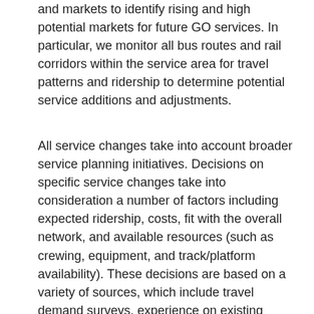and markets to identify rising and high potential markets for future GO services. In particular, we monitor all bus routes and rail corridors within the service area for travel patterns and ridership to determine potential service additions and adjustments.
All service changes take into account broader service planning initiatives. Decisions on specific service changes take into consideration a number of factors including expected ridership, costs, fit with the overall network, and available resources (such as crewing, equipment, and track/platform availability). These decisions are based on a variety of sources, which include travel demand surveys, experience on existing services serving similar markets, feedback from customers, and input from operational/engineering staff.